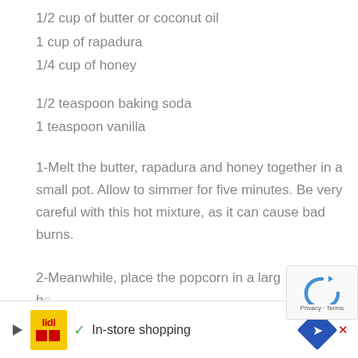1/2 cup of butter or coconut oil
1 cup of rapadura
1/4 cup of honey
1/2 teaspoon baking soda
1 teaspoon vanilla
1-Melt the butter, rapadura and honey together in a small pot. Allow to simmer for five minutes. Be very careful with this hot mixture, as it can cause bad burns.
2-Meanwhile, place the popcorn in a larg...
[Figure (screenshot): Advertisement bar at bottom: Lidl in-store shopping ad with navigation icon, and reCAPTCHA logo overlay in bottom right corner.]